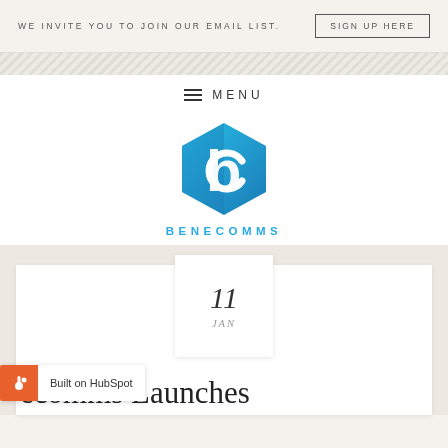WE INVITE YOU TO JOIN OUR EMAIL LIST.
SIGN UP HERE
MENU
[Figure (logo): Benecomms hexagon logo in blue with white 'b' letter mark]
BENECOMMS
11 JAN
ecomms Launches